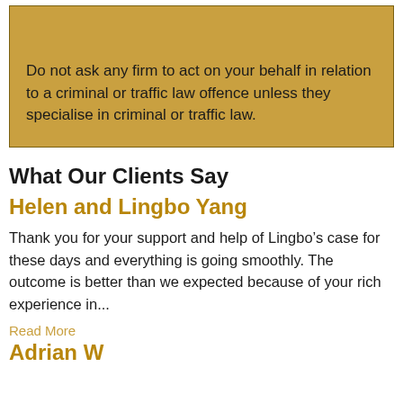Do not ask any firm to act on your behalf in relation to a criminal or traffic law offence unless they specialise in criminal or traffic law.
What Our Clients Say
Helen and Lingbo Yang
Thank you for your support and help of Lingbo’s case for these days and everything is going smoothly. The outcome is better than we expected because of your rich experience in...
Read More
Adrian W